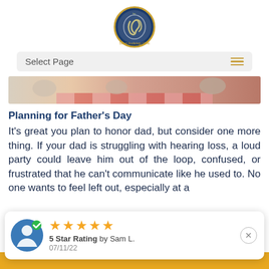[Figure (logo): Salem Audiology Clinic circular logo with blue and gold colors, showing an ear/hearing symbol]
[Figure (screenshot): Navigation bar with 'Select Page' text and hamburger menu icon]
[Figure (photo): Hero image strip showing a picnic or outdoor family scene with red checkered pattern]
Planning for Father's Day
It's great you plan to honor dad, but consider one more thing. If your dad is struggling with hearing loss, a loud party could leave him out of the loop, confused, or frustrated that he can't communicate like he used to. No one wants to feel left out, especially at a
[Figure (infographic): Review card overlay with 5 gold stars, '5 Star Rating by Sam L.', date '07/11/22', avatar icon, close button, on gold bar background]